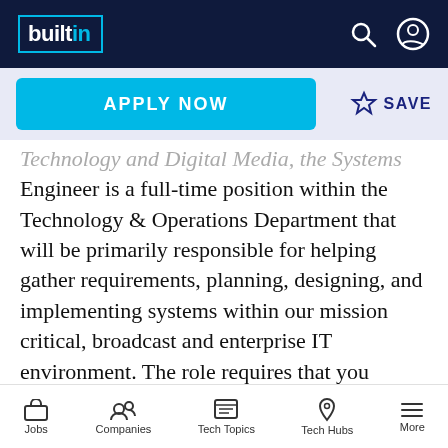builtin
APPLY NOW
SAVE
Technology and Digital Media, the Systems Engineer is a full-time position within the Technology & Operations Department that will be primarily responsible for helping gather requirements, planning, designing, and implementing systems within our mission critical, broadcast and enterprise IT environment. The role requires that you possess the necessary self-discipline to take ownership and responsibility for delivering technical solutions considering both business
Jobs  Companies  Tech Topics  Tech Hubs  More